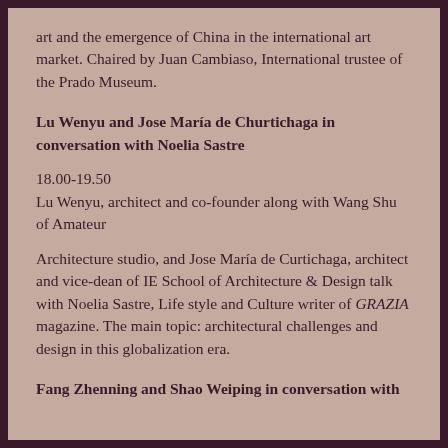art and the emergence of China in the international art market. Chaired by Juan Cambiaso, International trustee of the Prado Museum.
Lu Wenyu and Jose María de Churtichaga in conversation with Noelia Sastre
18.00-19.50
Lu Wenyu, architect and co-founder along with Wang Shu of Amateur
Architecture studio, and Jose María de Curtichaga, architect and vice-dean of IE School of Architecture & Design talk with Noelia Sastre, Life style and Culture writer of GRAZIA magazine. The main topic: architectural challenges and design in this globalization era.
Fang Zhenning and Shao Weiping in conversation with